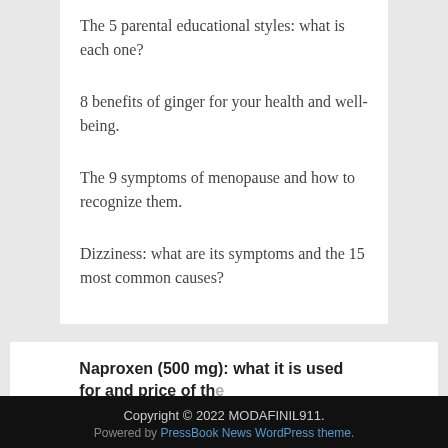The 5 parental educational styles: what is each one?
8 benefits of ginger for your health and well-being.
The 9 symptoms of menopause and how to recognize them.
Dizziness: what are its symptoms and the 15 most common causes?
Naproxen (500 mg): what it is used for and price of the anti-inflammatory drug
Medications
Copyright © 2022 MODAFINIL911. Powered by PressBook News WordPress theme.